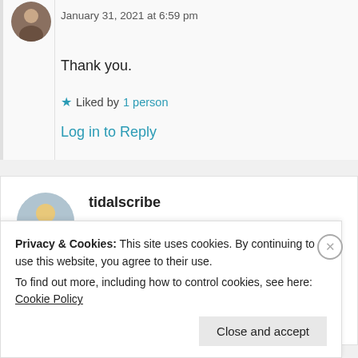January 31, 2021 at 6:59 pm
Thank you.
★ Liked by 1 person
Log in to Reply
tidalscribe
January 31, 2021 at 6:02 pm
Privacy & Cookies: This site uses cookies. By continuing to use this website, you agree to their use.
To find out more, including how to control cookies, see here: Cookie Policy
Close and accept